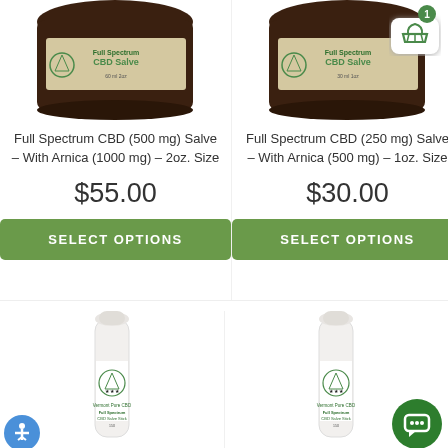[Figure (photo): Dark glass jar of Full Spectrum CBD Salve, top portion visible]
Full Spectrum CBD (500 mg) Salve - With Arnica (1000 mg) - 2oz. Size
$55.00
SELECT OPTIONS
[Figure (photo): Dark glass jar of Full Spectrum CBD Salve with cart badge showing 1 item]
Full Spectrum CBD (250 mg) Salve - With Arnica (500 mg) - 1oz. Size
$30.00
SELECT OPTIONS
[Figure (photo): White roll-on stick of Full Spectrum CBD Salve Stick, Vermont Pure CBD logo visible]
[Figure (photo): White roll-on stick of Full Spectrum CBD Salve Stick, Vermont Pure CBD logo visible, with chat icon overlay]